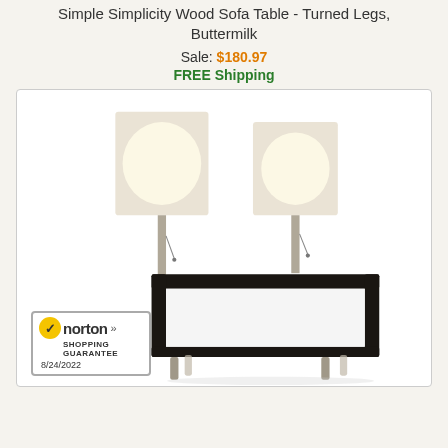Simple Simplicity Wood Sofa Table - Turned Legs, Buttermilk
Sale: $180.97
FREE Shipping
[Figure (photo): Product photo of a dark wood sofa/console table with two lamps with white rectangular shades on top, set against a white background.]
[Figure (logo): Norton Shopping Guarantee badge with yellow checkmark, date 8/24/2022]